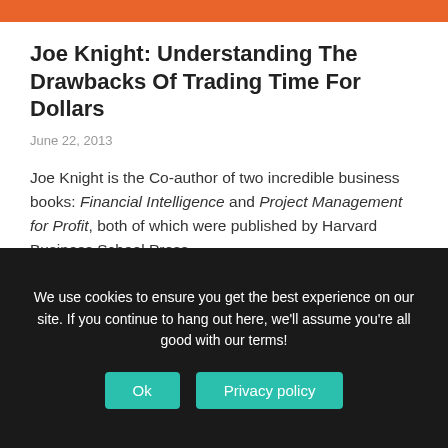Joe Knight: Understanding The Drawbacks Of Trading Time For Dollars
June 22, 2013
Joe Knight is the Co-author of two incredible business books: Financial Intelligence and Project Management for Profit, both of which were published by Harvard Business School Press.
Subscribe to EOFire
We use cookies to ensure you get the best experience on our site. If you continue to hang out here, we'll assume you're all good with our terms!